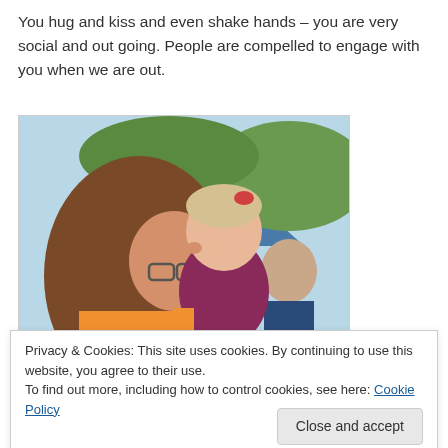You hug and kiss and even shake hands – you are very social and out going. People are compelled to engage with you when we are out.
[Figure (photo): A woman and a young child (with Down syndrome) touching noses/kissing outdoors at what appears to be a public event. The child is being held by the woman. Background shows trees and another person.]
Privacy & Cookies: This site uses cookies. By continuing to use this website, you agree to their use.
To find out more, including how to control cookies, see here: Cookie Policy
dad and I will be fooled by your fake snoring and leave you alone